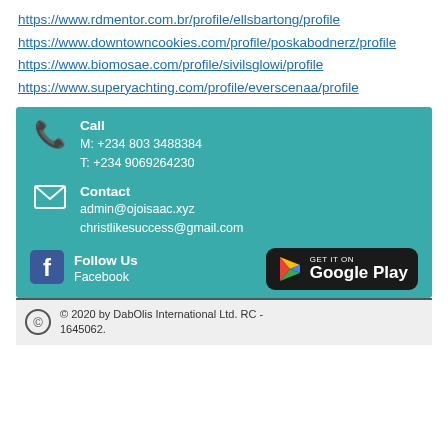https://www.rdmentor.com.br/profile/ellsbartong/profile
https://www.downtowncookies.com/profile/poskabodnerz/profile
https://www.biomosae.com/profile/sivilsglowi/profile
https://www.superyachting.com/profile/everscenaa/profile
Call
M: +234 803 3488384
T: +234 9069264230
Contact
admin@ojoisaac.xyz
christlikesuccess@gmail.com
Follow Us
Facebook
[Figure (logo): Get it on Google Play button]
© 2020 by DabOlis International Ltd. RC - 1645062.